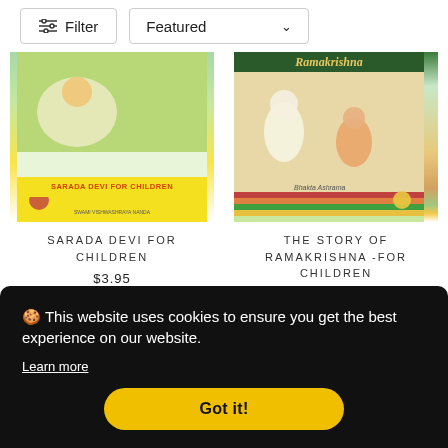[Figure (screenshot): Website product listing page showing a Filter button and Featured dropdown in top navigation bar, two book product cards (Sarada Devi for Children at $3.95, The Story of Ramakrishna -For Children), and a cookie consent banner overlay with 'Got it!' button]
Filter
Featured
[Figure (illustration): Book cover: Sarada Devi For Children by Swami Vishwashraya Nanda]
SARADA DEVI FOR CHILDREN
$3.95
[Figure (illustration): Book cover: The Story of Ramakrishna - For Children, with illustration of Ramakrishna and devotees]
THE STORY OF RAMAKRISHNA -FOR CHILDREN
🍪 This website uses cookies to ensure you get the best experience on our website.
Learn more
Got it!